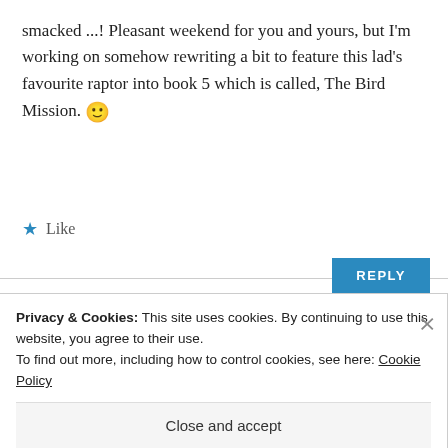smacked ...! Pleasant weekend for you and yours, but I'm working on somehow rewriting a bit to feature this lad's favourite raptor into book 5 which is called, The Bird Mission. 🙂
★ Like
REPLY
beemweeks
APRIL 22, 2017 AT 17:37
Privacy & Cookies: This site uses cookies. By continuing to use this website, you agree to their use.
To find out more, including how to control cookies, see here: Cookie Policy
Close and accept